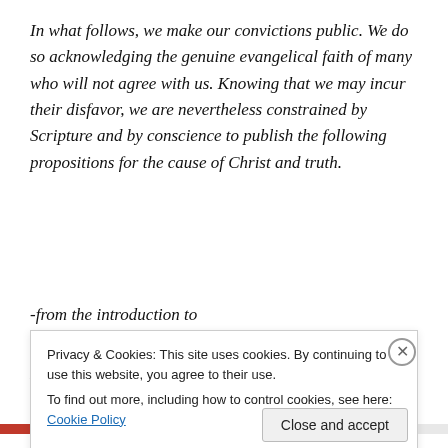In what follows, we make our convictions public. We do so acknowledging the genuine evangelical faith of many who will not agree with us. Knowing that we may incur their disfavor, we are nevertheless constrained by Scripture and by conscience to publish the following propositions for the cause of Christ and truth.
-from the introduction to
“An Open Letter to Evangelicals and Other Interested Parties:
The Preacher of God's...
Privacy & Cookies: This site uses cookies. By continuing to use this website, you agree to their use.
To find out more, including how to control cookies, see here: Cookie Policy
Close and accept